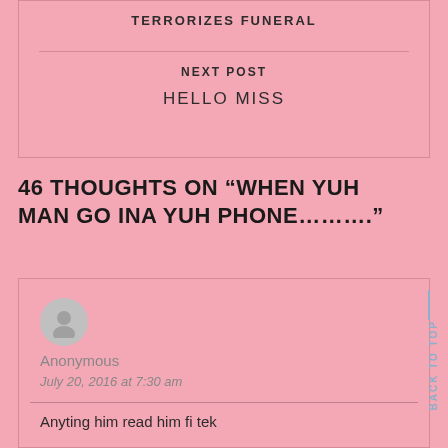TERRORIZES FUNERAL
NEXT POST
HELLO MISS
46 THOUGHTS ON “WHEN YUH MAN GO INA YUH PHONE……….”
Anonymous
July 20, 2016 at 7:30 am
Anyting him read him fi tek